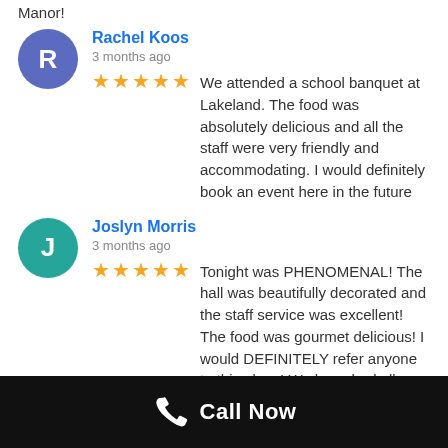Manor!
Rachel Koos
3 months ago
★★★★★ We attended a school banquet at Lakeland. The food was absolutely delicious and all the staff were very friendly and accommodating. I would definitely book an event here in the future
Joslyn Morris
3 months ago
★★★★★ Tonight was PHENOMENAL! The hall was beautifully decorated and the staff service was excellent! The food was gourmet delicious! I would DEFINITELY refer anyone to this place! We have had all our events here from our wedding to our baby showers we will DEFINITELY book here again! Wish I could leave 10 stars
Call Now